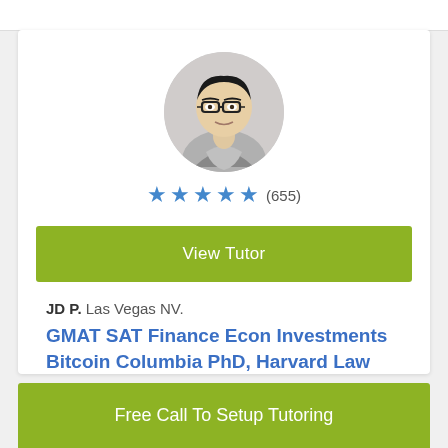[Figure (photo): Circular profile photo of a male tutor wearing glasses, with light gray background]
★ ★ ★ ★ ★ (655)
View Tutor
JD P. Las Vegas NV.
GMAT SAT Finance Econ Investments Bitcoin Columbia PhD, Harvard Law
Free Call To Setup Tutoring